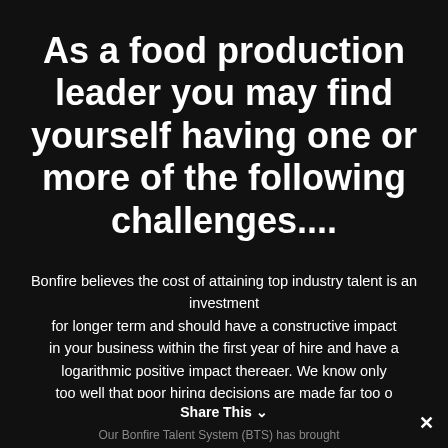As a food production leader you may find yourself having one or more of the following challenges....
Bonfire believes the cost of attaining top industry talent is an investment for longer term and should have a constructive impact in your business within the first year of hire and have a logarithmic positive impact thereafter. We know only too well that poor hiring decisions are made far too often which contribute to poor organisations results and frustrations.
Our Bonfire Talent System (BTS) has brought